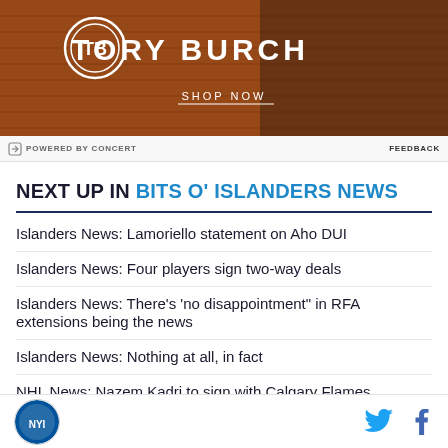[Figure (photo): Tory Burch advertisement banner with logo and SHOP NOW text on dark brownish-red background with brick wall visible]
POWERED BY CONCERT   FEEDBACK
NEXT UP IN BITS O' ISLANDERS NEWS
Islanders News: Lamoriello statement on Aho DUI
Islanders News: Four players sign two-way deals
Islanders News: There's 'no disappointment" in RFA extensions being the news
Islanders News: Nothing at all, in fact
NHL News: Nazem Kadri to sign with Calgary Flames.
Islanders logo | Twitter icon | Facebook icon